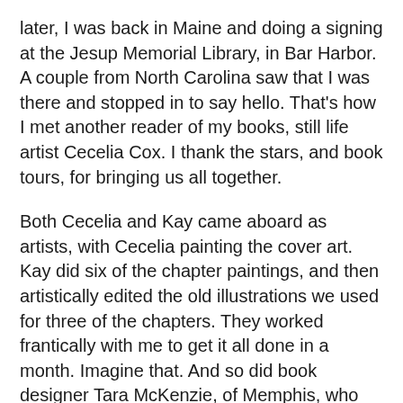later, I was back in Maine and doing a signing at the Jesup Memorial Library, in Bar Harbor. A couple from North Carolina saw that I was there and stopped in to say hello. That's how I met another reader of my books, still life artist Cecelia Cox. I thank the stars, and book tours, for bringing us all together.
Both Cecelia and Kay came aboard as artists, with Cecelia painting the cover art.  Kay did six of the chapter paintings, and then artistically edited the old illustrations we used for three of the chapters. They worked frantically with me to get it all done in a month. Imagine that. And so did book designer Tara McKenzie, of Memphis, who labored beyond the call of duty. No one complained. Ever. And that says a lot about their professionalism.